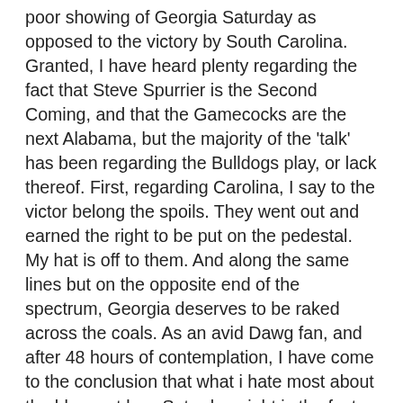poor showing of Georgia Saturday as opposed to the victory by South Carolina. Granted, I have heard plenty regarding the fact that Steve Spurrier is the Second Coming, and that the Gamecocks are the next Alabama, but the majority of the 'talk' has been regarding the Bulldogs play, or lack thereof. First, regarding Carolina, I say to the victor belong the spoils. They went out and earned the right to be put on the pedestal. My hat is off to them. And along the same lines but on the opposite end of the spectrum, Georgia deserves to be raked across the coals. As an avid Dawg fan, and after 48 hours of contemplation, I have come to the conclusion that what i hate most about the blow-out loss Saturday night is the fact that no one in the country takes our program seriously anymore. We now carry the stigma that a Mark Richt team can't win a big game. What's even worse, most of those same people don't think Georgia can even show up and compete in a big game. Our record shows that their beliefs are justified. In the words of the late Rodney Dangerfield, "we can't get no respect". But we haven't earned that respect because we haven't won that big game in probably five years now. I hate that terribly for Richt, but I hate it even more for our program. The only way we get that